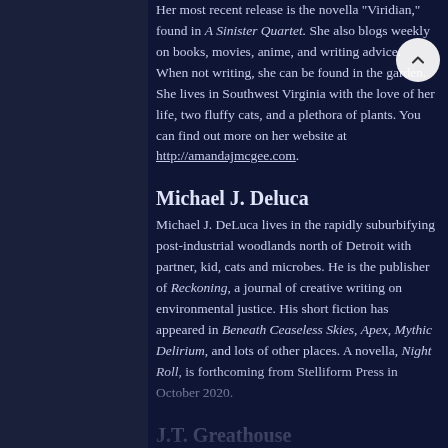Her most recent release is the novella "Viridian," found in A Sinister Quartet. She also blogs weekly on books, movies, anime, and writing advice. When not writing, she can be found in the garden. She lives in Southwest Virginia with the love of her life, two fluffy cats, and a plethora of plants. You can find out more on her website at http://amandajmcgee.com.
Michael J. Deluca
Michael J. DeLuca lives in the rapidly suburbifying post-industrial woodlands north of Detroit with partner, kid, cats and microbes. He is the publisher of Reckoning, a journal of creative writing on environmental justice. His short fiction has appeared in Beneath Ceaseless Skies, Apex, Mythic Delirium, and lots of other places. A novella, Night Roll, is forthcoming from Stelliform Press in October 2020.
J.T. Greathouse